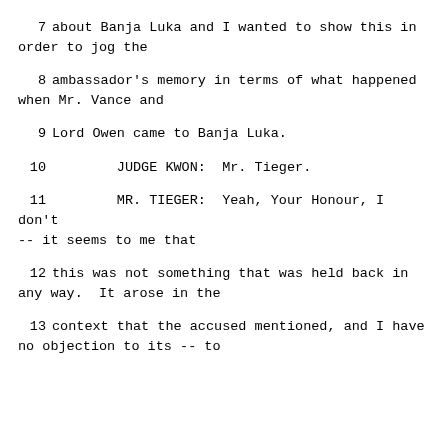7     about Banja Luka and I wanted to show this in order to jog the
8     ambassador's memory in terms of what happened when Mr. Vance and
9     Lord Owen came to Banja Luka.
10          JUDGE KWON:  Mr. Tieger.
11          MR. TIEGER:  Yeah, Your Honour, I don't -- it seems to me that
12     this was not something that was held back in any way.  It arose in the
13     context that the accused mentioned, and I have no objection to its -- to